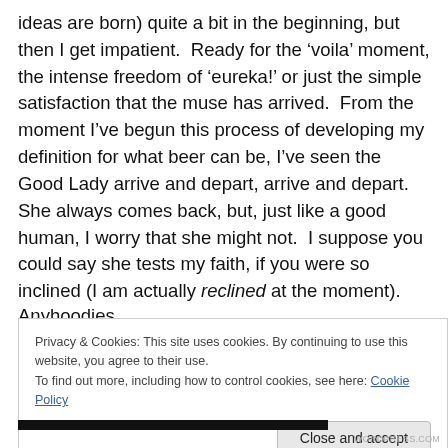ideas are born) quite a bit in the beginning, but then I get impatient. Ready for the 'voila' moment, the intense freedom of 'eureka!' or just the simple satisfaction that the muse has arrived. From the moment I've begun this process of developing my definition for what beer can be, I've seen the Good Lady arrive and depart, arrive and depart. She always comes back, but, just like a good human, I worry that she might not. I suppose you could say she tests my faith, if you were so inclined (I am actually reclined at the moment).
Anyhoodies
Privacy & Cookies: This site uses cookies. By continuing to use this website, you agree to their use.
To find out more, including how to control cookies, see here: Cookie Policy
Close and accept